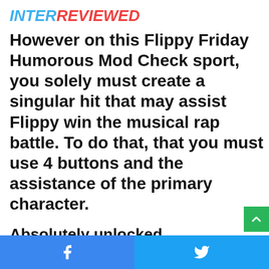INTERREVIEWED
However on this Flippy Friday Humorous Mod Check sport, you solely must create a singular hit that may assist Flippy win the musical rap battle. To do that, that you must use 4 buttons and the assistance of the primary character.
Absolutely unlocked
On the finish of the observe, you can be proven your rating. If you happen to scored greater than 1000 factors, congratulations, you probably did an important job. Attempt to compete with your mates. Submit your Friday Humorous M